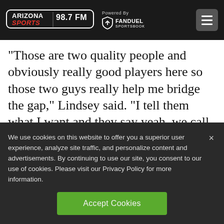Arizona Sports 98.7 FM | Powered By FanDuel Sportsbook
“Those are two quality people and obviously really good players here so those two guys really help me bridge the gap,” Lindsey said. “I tell them what I want and they say yeah, we call it this in our terminology. It helps me learn — and I have lot to learn.”
We use cookies on this website to offer you a superior user experience, analyze site traffic, and personalize content and advertisements. By continuing to use our site, you consent to our use of cookies. Please visit our Privacy Policy for more information.
Accept Cookies